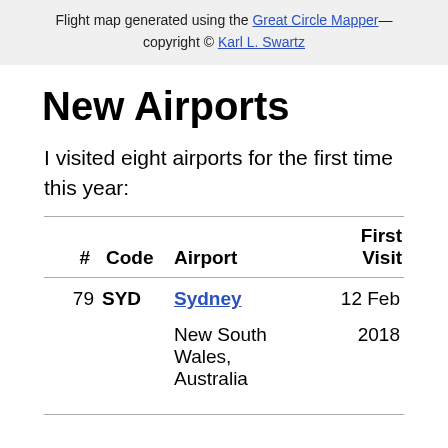Flight map generated using the Great Circle Mapper—copyright © Karl L. Swartz
New Airports
I visited eight airports for the first time this year:
| # | Code | Airport | First Visit |
| --- | --- | --- | --- |
| 79 | SYD | Sydney
New South Wales, Australia | 12 Feb 2018 |